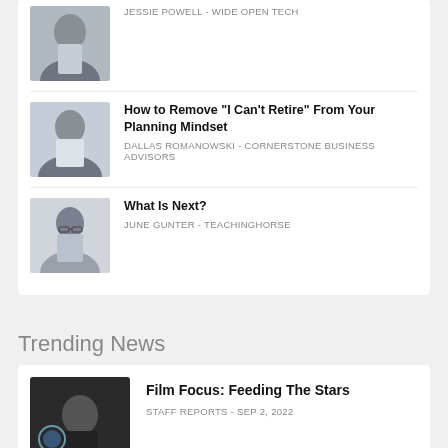JESSIE POWELL - WIDE OPEN TECH
How to Remove “I Can’t Retire” From Your Planning Mindset - DALLAS ROMANOWSKI - CORNERSTONE BUSINESS ADVISORS
What Is Next? - JUNE GUNTER - TEACHINGHORSE
Trending News
Film Focus: Feeding The Stars - STAFF REPORTS - SEP 2, 2022
Partial article visible at bottom